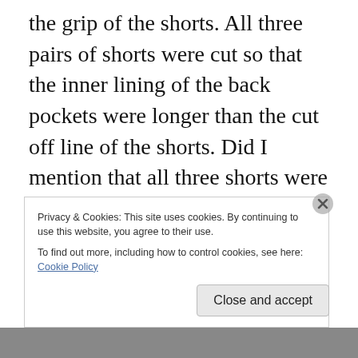the grip of the shorts. All three pairs of shorts were cut so that the inner lining of the back pockets were longer than the cut off line of the shorts. Did I mention that all three shorts were skin tight?  This girl with the ballerina hairdo had watery eyes that sparkled in the mid-afternoon sun. Her soft thick lips looked even thicker because she used a lip liner to outline them slightly above and below her natural lip line. A thin film of gloss covered both lips and they too shone in the sun. Even her pearly iridescent skin shone. A few freckles scattered recklessly on her cheeks must have caused this young girl endless anguish. She
Privacy & Cookies: This site uses cookies. By continuing to use this website, you agree to their use.
To find out more, including how to control cookies, see here: Cookie Policy
Close and accept